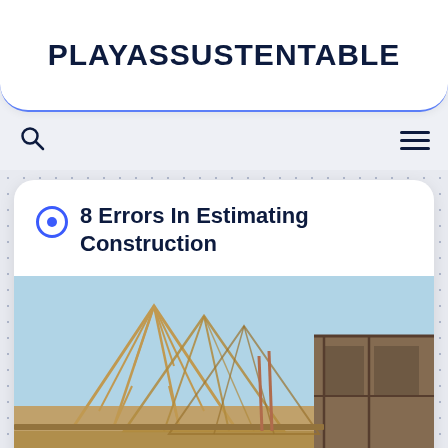PLAYASSUSTENTABLE
8 Errors In Estimating Construction
[Figure (photo): Photograph of a house under construction showing wooden roof framing/trusses against a blue sky, with framed walls visible on the right side.]